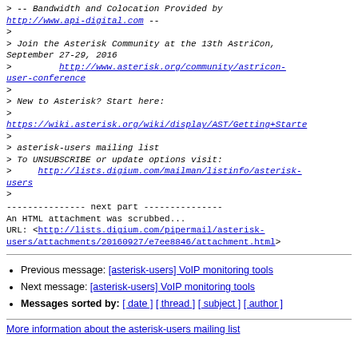> -- Bandwidth and Colocation Provided by http://www.api-digital.com --
>
> Join the Asterisk Community at the 13th AstriCon, September 27-29, 2016
>         http://www.asterisk.org/community/astricon-user-conference
>
> New to Asterisk? Start here:
>
https://wiki.asterisk.org/wiki/display/AST/Getting+Starte
>
> asterisk-users mailing list
> To UNSUBSCRIBE or update options visit:
>      http://lists.digium.com/mailman/listinfo/asterisk-users
>
--------------- next part ---------------
An HTML attachment was scrubbed...
URL: <http://lists.digium.com/pipermail/asterisk-users/attachments/20160927/e7ee8846/attachment.html>
Previous message: [asterisk-users] VoIP monitoring tools
Next message: [asterisk-users] VoIP monitoring tools
Messages sorted by: [ date ] [ thread ] [ subject ] [ author ]
More information about the asterisk-users mailing list